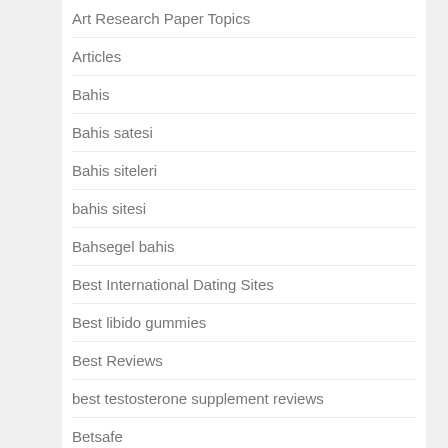Art Research Paper Topics
Articles
Bahis
Bahis satesi
Bahis siteleri
bahis sitesi
Bahsegel bahis
Best International Dating Sites
Best libido gummies
Best Reviews
best testosterone supplement reviews
Betsafe
Bettilt